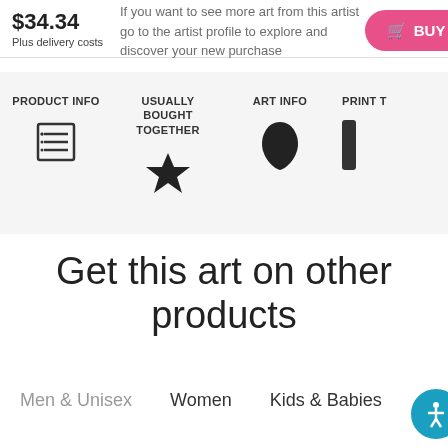$34.34
Plus delivery costs
If you want to see more art from this artist go to the artist profile to explore and discover your new purchase
BUY NOW
PRODUCT INFO
USUALLY BOUGHT TOGETHER
ART INFO
PRINT T...
Get this art on other products
Men & Unisex   Women   Kids & Babies